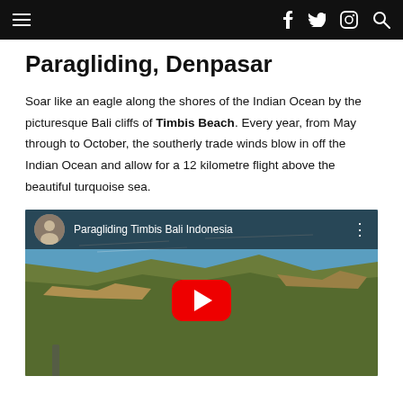Navigation bar with hamburger menu and social icons (Facebook, Twitter, Instagram, Search)
Paragliding, Denpasar
Soar like an eagle along the shores of the Indian Ocean by the picturesque Bali cliffs of Timbis Beach. Every year, from May through to October, the southerly trade winds blow in off the Indian Ocean and allow for a 12 kilometre flight above the beautiful turquoise sea.
[Figure (screenshot): YouTube video thumbnail showing aerial paragliding view over Timbis Beach, Bali, Indonesia. Title reads 'Paragliding Timbis Bali Indonesia' with a YouTube play button in the center.]